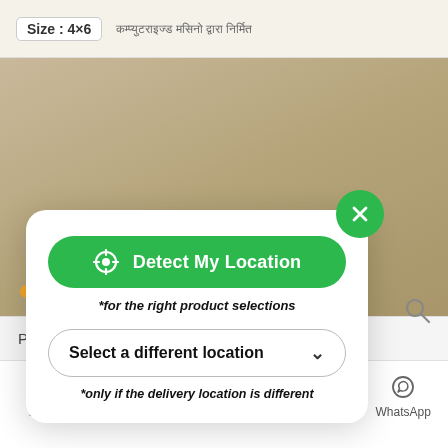[Figure (screenshot): Top product image strip showing size label '4×6' and Nepali text]
[Figure (screenshot): Modal dialog on e-commerce app with Detect My Location button, Select a different location dropdown, and close button]
Size: 4×6
Detect My Location
*for the right product selections
Select a different location
*only if the delivery location is different
Low
Price  Rs 480
Home
Categories
Cart
Wishlist
WhatsApp